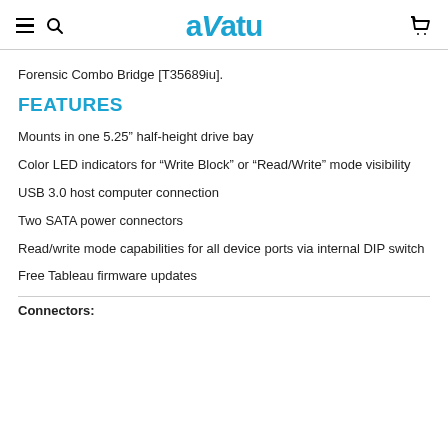aVatu
Forensic Combo Bridge [T35689iu].
FEATURES
Mounts in one 5.25” half-height drive bay
Color LED indicators for “Write Block” or “Read/Write” mode visibility
USB 3.0 host computer connection
Two SATA power connectors
Read/write mode capabilities for all device ports via internal DIP switch
Free Tableau firmware updates
Connectors: